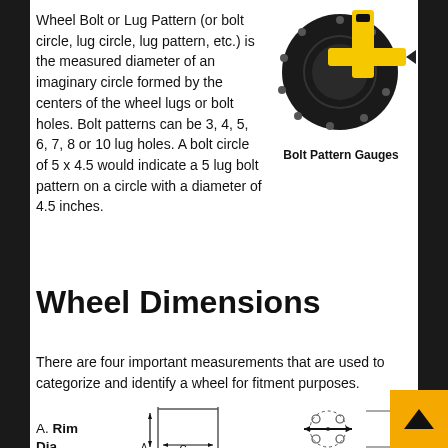Wheel Bolt or Lug Pattern (or bolt circle, lug circle, lug pattern, etc.) is the measured diameter of an imaginary circle formed by the centers of the wheel lugs or bolt holes. Bolt patterns can be 3, 4, 5, 6, 7, 8 or 10 lug holes. A bolt circle of 5 x 4.5 would indicate a 5 lug bolt pattern on a circle with a diameter of 4.5 inches.
[Figure (photo): Bolt Pattern Gauges tool - a circular gauge with yellow accents used to measure wheel bolt patterns]
Bolt Pattern Gauges
Wheel Dimensions
There are four important measurements that are used to categorize and identify a wheel for fitment purposes.
A. Rim Diameter The actu
[Figure (engineering-diagram): Engineering diagram showing wheel rim cross-section with dimension C (width) and A (rim diameter), alongside a bolt circle diagram showing bolt hole positions with dimension D]